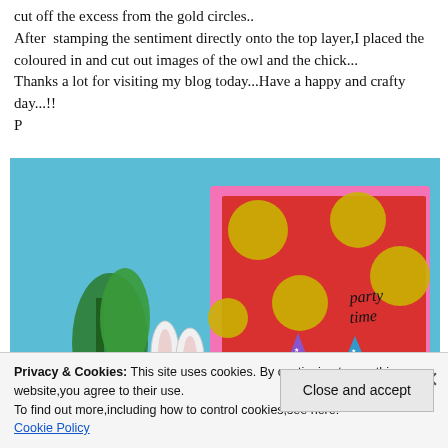cut off the excess from the gold circles..
After stamping the sentiment directly onto the top layer,I placed the coloured in and cut out images of the owl and the chick...
Thanks a lot for visiting my blog today...Have a happy and crafty day...!!
P
[Figure (photo): A handmade greeting card with red background featuring gold glitter polka dots, cartoon owl and chick characters wearing party hats, with 'party time' text. Card is displayed against a blue background with a white bunny figurine and green plant visible.]
Privacy & Cookies: This site uses cookies. By continuing to use this website,you agree to their use.
To find out more,including how to control cookies,see here:
Cookie Policy
Close and accept